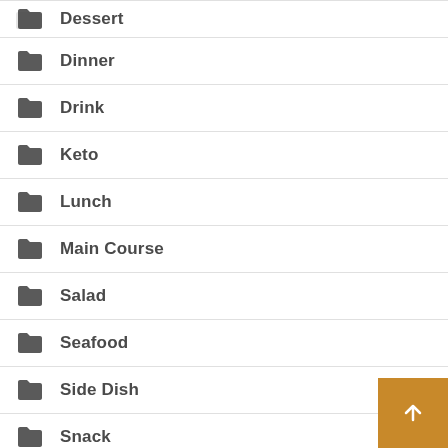Dessert
Dinner
Drink
Keto
Lunch
Main Course
Salad
Seafood
Side Dish
Snack
Soup
Vegetable
World Cuisine